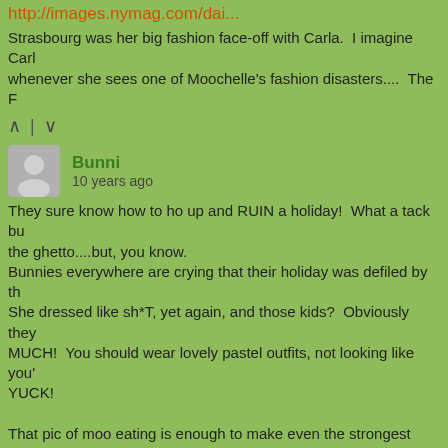http://images.nymag.com/dai...
Strasbourg was her big fashion face-off with Carla.  I imagine Carla whenever she sees one of Moochelle's fashion disasters....  The F
∧ | ∨
Bunni
10 years ago
They sure know how to ho up and RUIN a holiday!  What a tack bu the ghetto....but, you know.
Bunnies everywhere are crying that their holiday was defiled by th She dressed like sh*T, yet again, and those kids?  Obviously they MUCH!  You should wear lovely pastel outfits, not looking like you' YUCK!

That pic of moo eating is enough to make even the strongest stom
∧ | ∨
Daizie
10 years ago
Somewhat related, I was thinking that when President Bush includ